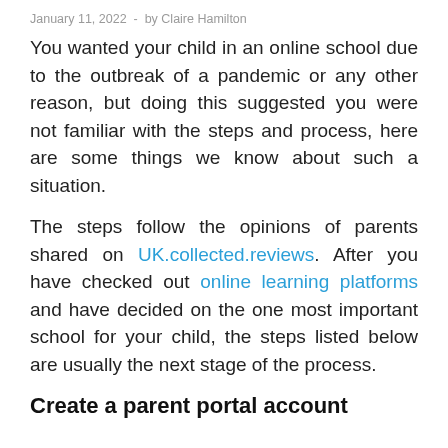January 11, 2022  -  by Claire Hamilton
You wanted your child in an online school due to the outbreak of a pandemic or any other reason, but doing this suggested you were not familiar with the steps and process, here are some things we know about such a situation.
The steps follow the opinions of parents shared on UK.collected.reviews. After you have checked out online learning platforms and have decided on the one most important school for your child, the steps listed below are usually the next stage of the process.
Create a parent portal account